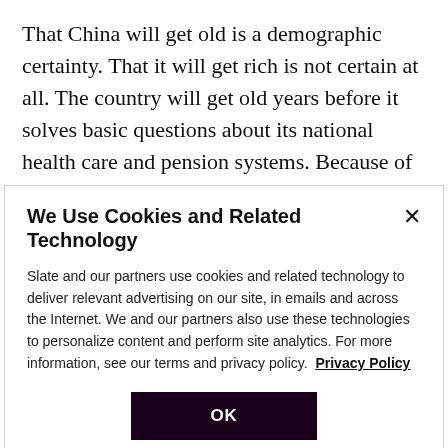That China will get old is a demographic certainty. That it will get rich is not certain at all. The country will get old years before it solves basic questions about its national health care and pension systems. Because of these concerns, China is more willing than the United States to try innovative community-centered ideas such as the volunteer bank simply because the country has no other choice. Yet, if China's embrace of an idea such Feng's
We Use Cookies and Related Technology
Slate and our partners use cookies and related technology to deliver relevant advertising on our site, in emails and across the Internet. We and our partners also use these technologies to personalize content and perform site analytics. For more information, see our terms and privacy policy. Privacy Policy